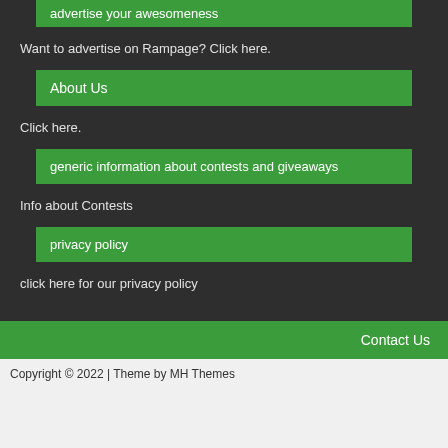advertise your awesomeness
Want to advertise on Rampage? Click here.
About Us
Click here.
generic information about contests and giveaways
Info about Contests
privacy policy
click here for our privacy policy
Contact Us
Copyright © 2022 | Theme by MH Themes